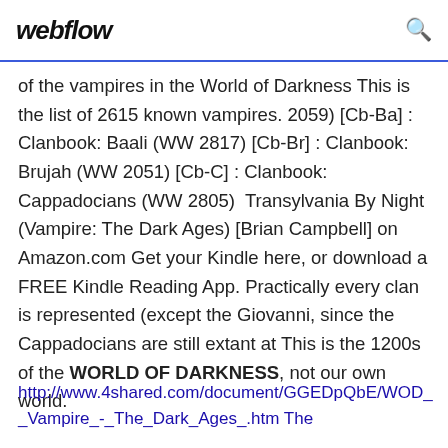webflow
of the vampires in the World of Darkness This is the list of 2615 known vampires. 2059) [Cb-Ba] : Clanbook: Baali (WW 2817) [Cb-Br] : Clanbook: Brujah (WW 2051) [Cb-C] : Clanbook: Cappadocians (WW 2805)  Transylvania By Night (Vampire: The Dark Ages) [Brian Campbell] on Amazon.com Get your Kindle here, or download a FREE Kindle Reading App. Practically every clan is represented (except the Giovanni, since the Cappadocians are still extant at This is the 1200s of the WORLD OF DARKNESS, not our own world.
http://www.4shared.com/document/GGEDpQbE/WOD_Vampire_-_The_Dark_Ages_.htm The